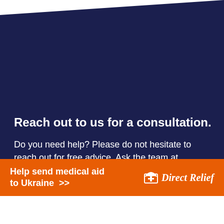[Figure (illustration): Dark navy blue parallelogram/polygon background shape covering the upper ~87% of the page]
Reach out to us for a consultation.
Do you need help? Please do not hesitate to reach out for free advice. Ask the team at Helptostudy.com for help for a faster, more efficient search and support.
Help send medical aid to Ukraine >>  Direct Relief